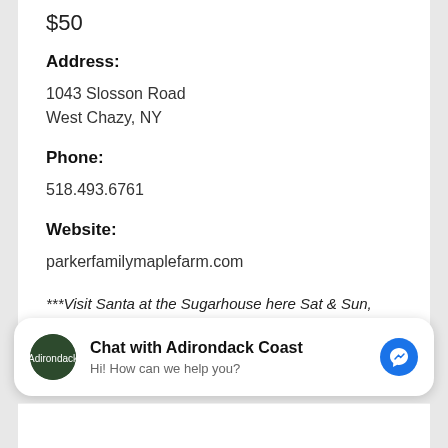$50
Address:
1043 Slosson Road
West Chazy, NY
Phone:
518.493.6761
Website:
parkerfamilymaplefarm.com
***Visit Santa at the Sugarhouse here Sat & Sun, Dec. 11 & 12 9am-2pm to take photos and enjoy holiday themed maple treats for this weekend only.
Chat with Adirondack Coast
Hi! How can we help you?